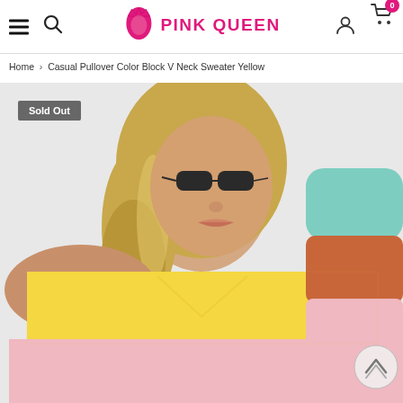Pink Queen — navigation header with menu, search, logo, user and cart icons
Home > Casual Pullover Color Block V Neck Sweater Yellow
[Figure (photo): Product photo of a woman wearing a casual pullover color block V neck sweater in yellow, pink, orange/terracotta, and mint/teal color blocks. The sweater has wide stripes: yellow at the top body, pink in the middle, orange at the bottom, with a teal sleeve cuff and orange mid-sleeve. The model has blonde wavy hair and wears sunglasses. A 'Sold Out' badge is overlaid in the top-left corner.]